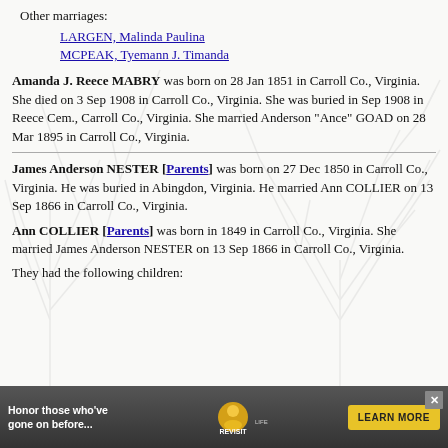Other marriages:
LARGEN, Malinda Paulina
MCPEAK, Tyemann J. Timanda
Amanda J. Reece MABRY was born on 28 Jan 1851 in Carroll Co., Virginia. She died on 3 Sep 1908 in Carroll Co., Virginia. She was buried in Sep 1908 in Reece Cem., Carroll Co., Virginia. She married Anderson "Ance" GOAD on 28 Mar 1895 in Carroll Co., Virginia.
James Anderson NESTER [Parents] was born on 27 Dec 1850 in Carroll Co., Virginia. He was buried in Abingdon, Virginia. He married Ann COLLIER on 13 Sep 1866 in Carroll Co., Virginia.
Ann COLLIER [Parents] was born in 1849 in Carroll Co., Virginia. She married James Anderson NESTER on 13 Sep 1866 in Carroll Co., Virginia.
They had the following children:
[Figure (other): Advertisement banner: Honor those who've gone on before... RevisitLife.com LEARN MORE]